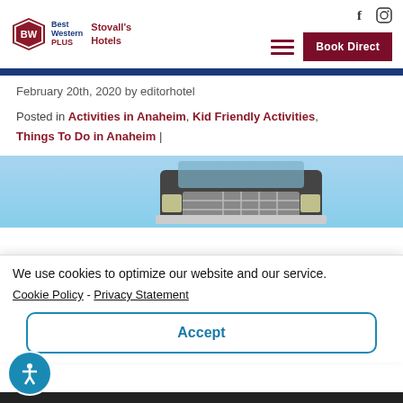[Figure (logo): Best Western PLUS logo with Stovall's Hotels text]
February 20th, 2020 by editorhotel
Posted in Activities in Anaheim, Kid Friendly Activities, Things To Do in Anaheim |
[Figure (photo): Front grille of a large truck against a blue sky]
We use cookies to optimize our website and our service.
Cookie Policy - Privacy Statement
Accept